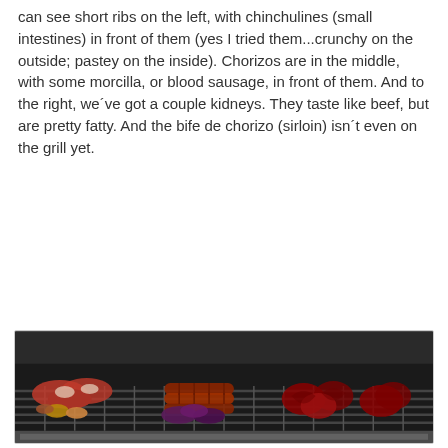can see short ribs on the left, with chinchulines (small intestines) in front of them (yes I tried them...crunchy on the outside; pastey on the inside). Chorizos are in the middle, with some morcilla, or blood sausage, in front of them. And to the right, we´ve got a couple kidneys. They taste like beef, but are pretty fatty. And the bife de chorizo (sirloin) isn´t even on the grill yet.
[Figure (photo): A large grill with various meats: short ribs on the left, chinchulines (small intestines) in front, chorizos in the middle, morcilla (blood sausage) in front of them, and kidneys on the right.]